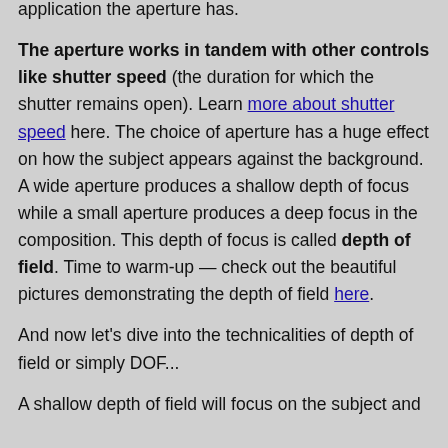application the aperture has.
The aperture works in tandem with other controls like shutter speed (the duration for which the shutter remains open). Learn more about shutter speed here. The choice of aperture has a huge effect on how the subject appears against the background. A wide aperture produces a shallow depth of focus while a small aperture produces a deep focus in the composition. This depth of focus is called depth of field. Time to warm-up — check out the beautiful pictures demonstrating the depth of field here.
And now let's dive into the technicalities of depth of field or simply DOF...
A shallow depth of field will focus on the subject and